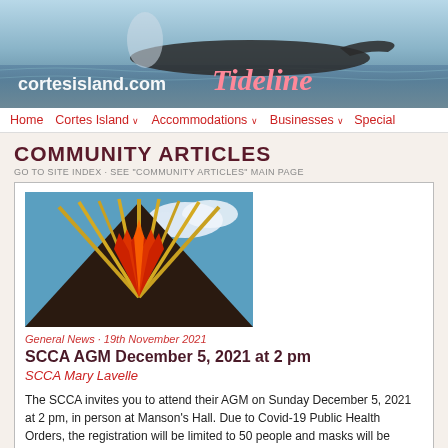[Figure (photo): Website header banner showing a whale surfacing in blue-grey ocean water with the text 'cortesisland.com Tideline' overlaid]
Home   Cortes Island ∨   Accommodations ∨   Businesses ∨   Special
COMMUNITY ARTICLES
GO TO SITE INDEX · SEE "COMMUNITY ARTICLES" MAIN PAGE
[Figure (photo): Photo of a building rooftop with a decorative sunburst pattern in red, yellow and gold colors against a blue sky with clouds]
General News · 19th November 2021
SCCA AGM December 5, 2021 at 2 pm
SCCA Mary Lavelle
The SCCA invites you to attend their AGM on Sunday December 5, 2021 at 2 pm, in person at Manson's Hall. Due to Covid-19 Public Health Orders, the registration will be limited to 50 people and masks will be required. Preregistration is necessary and proof of vaccination is